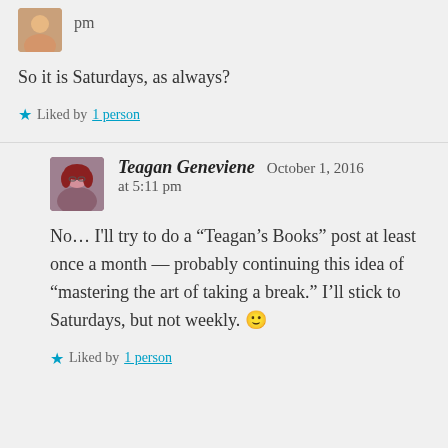pm
So it is Saturdays, as always?
Liked by 1 person
Teagan Geneviene  October 1, 2016 at 5:11 pm
No… I'll try to do a “Teagan’s Books” post at least once a month — probably continuing this idea of “mastering the art of taking a break.” I’ll stick to Saturdays, but not weekly. 🙂
Liked by 1 person